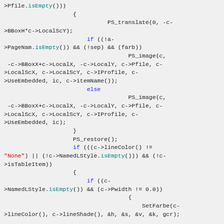Source code snippet showing C++ code with PS_translate, PS_image, PS_restore, and conditional logic for line color and named line style checks.